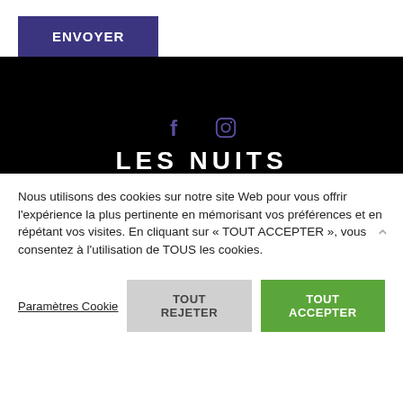ENVOYER
[Figure (screenshot): Dark black footer section with Facebook and Instagram icons in purple/dark color, and partial text 'LES NUITS' in white at the bottom]
Nous utilisons des cookies sur notre site Web pour vous offrir l'expérience la plus pertinente en mémorisant vos préférences et en répétant vos visites. En cliquant sur « TOUT ACCEPTER », vous consentez à l'utilisation de TOUS les cookies.
Paramètres Cookie
TOUT REJETER
TOUT ACCEPTER